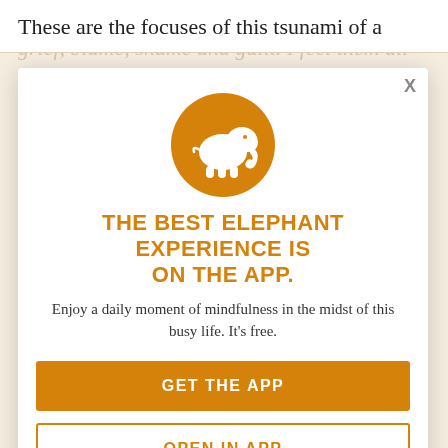These are the focuses of this tsunami of a
revolution breaking over them: wave of anger, grief, blame, shame and guilt. I feel them all at times.
I grieve for us humans, even as I rejoice
are up for new challenges, creative
how best to support the grieving and healing. Then, look at your own programming within the Experience.
thereof, understanding and answers g
[Figure (logo): Orange circular badge with white elephant silhouette (Elephant Journal app icon)]
THE BEST ELEPHANT EXPERIENCE IS ON THE APP.
Enjoy a daily moment of mindfulness in the midst of this busy life. It's free.
GET THE APP
OPEN IN APP